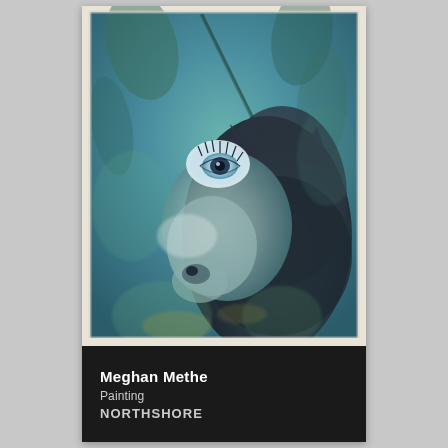[Figure (illustration): A watercolor painting of a wolf or dog-like animal with its head tilted back, howling or looking upward. The animal has a stylized eye near the top of the composition with dark lashes. The palette is primarily teal, blue, green, and grey tones with textured brushwork suggesting foliage or natural elements in the background. Artist signature 'meghan methe' appears in the lower right corner of the painting.]
Meghan Methe
Painting
NORTHSHORE